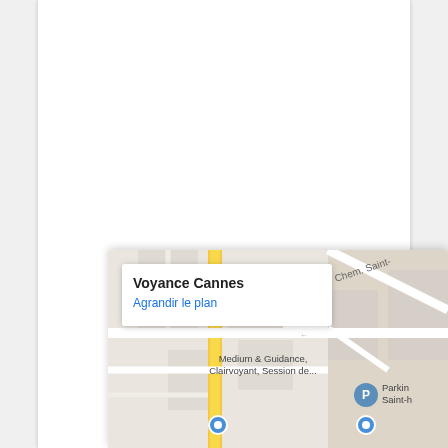[Figure (map): Google Maps screenshot showing location of 'Voyance Cannes' with a popup overlay reading 'Voyance Cannes' and 'Agrandir le plan'. The map shows street layout with labels including 'Chem. Saint-', 'Medium & Guidance, Clairvoyant, Session de...', and a parking icon labeled 'Parkin Saint-h'. Map pins are visible.]